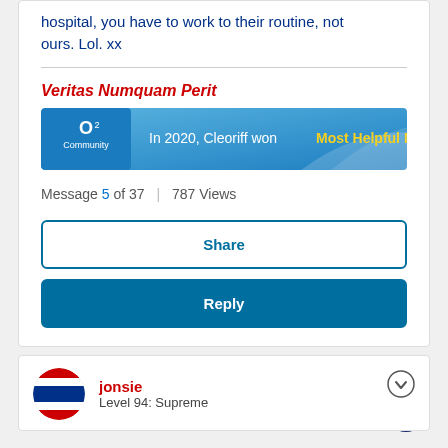hospital, you have to work to their routine, not ours. Lol. xx
Veritas Numquam Perit
[Figure (infographic): O2 Community badge banner: In 2020, Cleoriff won Most Helpful Member]
Message 5 of 37  |  787 Views
Share
Reply
jonsie
Level 94: Supreme